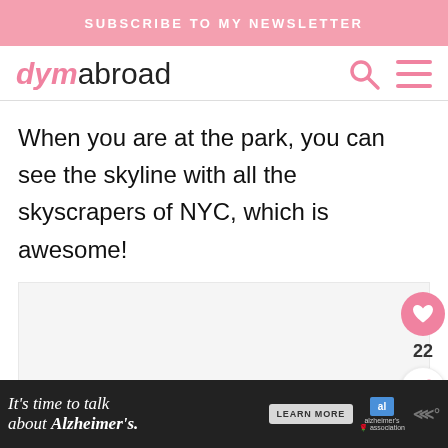SUBSCRIBE TO MY NEWSLETTER
dymabroad
When you are at the park, you can see the skyline with all the skyscrapers of NYC, which is awesome!
[Figure (photo): Blank/placeholder image area]
It's time to talk about Alzheimer's. LEARN MORE